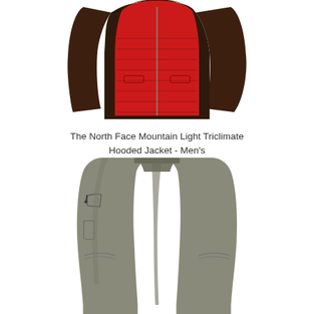[Figure (photo): The North Face Mountain Light Triclimate Hooded Jacket - Men's. A jacket with dark brown/chocolate colored sleeves and body outer shell, with a red quilted inner vest visible. The jacket is shown open, front-facing view from roughly chest up.]
The North Face Mountain Light Triclimate Hooded Jacket - Men's
[Figure (photo): A pair of gray/sage colored outdoor/hiking pants shown front view. The pants have a straight leg fit with visible pockets including a zip pocket on the left thigh. The background is white.]